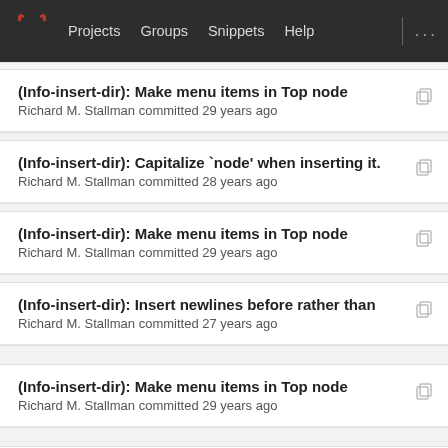Projects  Groups  Snippets  Help  ...
(Info-insert-dir): Make menu items in Top node
Richard M. Stallman committed 29 years ago
(Info-insert-dir): Capitalize `node' when inserting it.
Richard M. Stallman committed 28 years ago
(Info-insert-dir): Make menu items in Top node
Richard M. Stallman committed 29 years ago
(Info-insert-dir): Insert newlines before rather than
Richard M. Stallman committed 27 years ago
(Info-insert-dir): Make menu items in Top node
Richard M. Stallman committed 29 years ago
(Info-insert-dir): Ignore access times when compar...
Richard M. Stallman committed 28 years ago